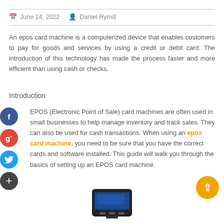June 14, 2022   Daniel Rymill
An epos card machine is a computerized device that enables customers to pay for goods and services by using a credit or debit card. The introduction of this technology has made the process faster and more efficient than using cash or checks.
Introduction
EPOS (Electronic Point of Sale) card machines are often used in small businesses to help manage inventory and track sales. They can also be used for cash transactions. When using an epos card machine, you need to be sure that you have the correct cards and software installed. This guide will walk you through the basics of setting up an EPOS card machine.
[Figure (photo): Partial view of a card payment terminal device at the bottom of the page]